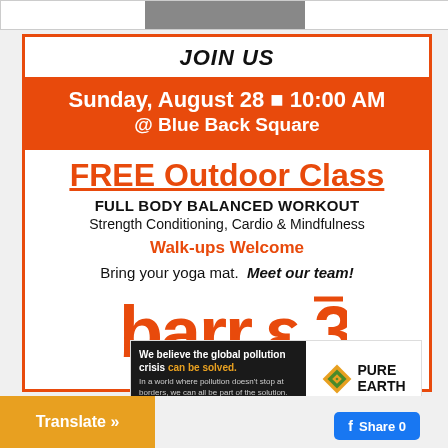[Figure (photo): Partial image at top of page, mostly gray/cropped vehicle image]
JOIN US
Sunday, August 28 ■ 10:00 AM @ Blue Back Square
FREE Outdoor Class
FULL BODY BALANCED WORKOUT
Strength Conditioning, Cardio & Mindfulness
Walk-ups Welcome
Bring your yoga mat.  Meet our team!
[Figure (logo): barre3 logo in orange text]
[Figure (infographic): Pure Earth advertisement: 'We believe the global pollution crisis can be solved.' with Pure Earth logo]
0
Translate »
Share 0